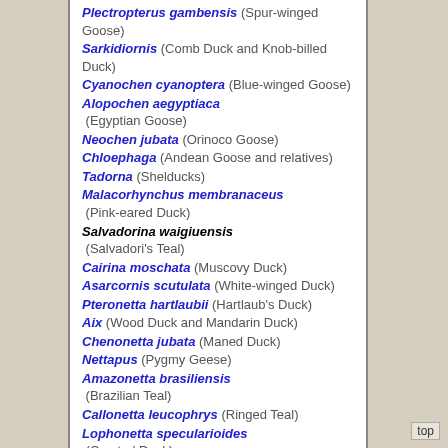Plectropterus gambensis (Spur-winged Goose)
Sarkidiornis (Comb Duck and Knob-billed Duck)
Cyanochen cyanoptera (Blue-winged Goose)
Alopochen aegyptiaca (Egyptian Goose)
Neochen jubata (Orinoco Goose)
Chloephaga (Andean Goose and relatives)
Tadorna (Shelducks)
Malacorhynchus membranaceus (Pink-eared Duck)
Salvadorina waigiuensis (Salvadori's Teal)
Cairina moschata (Muscovy Duck)
Asarcornis scutulata (White-winged Duck)
Pteronetta hartlaubii (Hartlaub's Duck)
Aix (Wood Duck and Mandarin Duck)
Chenonetta jubata (Maned Duck)
Nettapus (Pygmy Geese)
Amazonetta brasiliensis (Brazilian Teal)
Callonetta leucophrys (Ringed Teal)
Lophonetta specularioides (Crested Duck)
Speculanas specularis (Bronze-winged Duck)
Anas (Teals, Wigeons, Shovelers, Pintails, Mallard, and relatives)